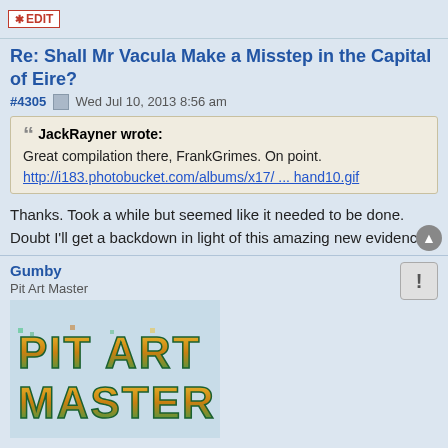[Figure (screenshot): Edit button at top of post]
Re: Shall Mr Vacula Make a Misstep in the Capital of Eire?
#4305  Wed Jul 10, 2013 8:56 am
JackRayner wrote: Great compilation there, FrankGrimes. On point. http://i183.photobucket.com/albums/x17/ ... hand10.gif
Thanks. Took a while but seemed like it needed to be done. Doubt I'll get a backdown in light of this amazing new evidence.
Gumby
Pit Art Master
[Figure (illustration): Pit Art Master stylized text logo image]
Re: Shall Mr Vacula Make a Misstep in the Capital of Eire?
#4306  Wed Jul 10, 2013 8:59 am
Gefan wrote: VAXbard wrote: